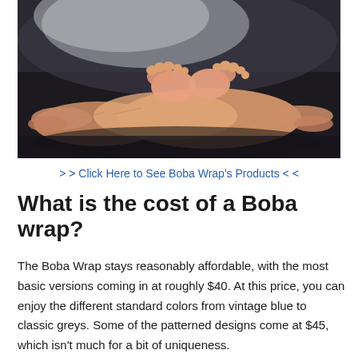[Figure (photo): Close-up photo of adult hands cradling tiny newborn baby feet against a dark background with soft fabric visible]
> > Click Here to See Boba Wrap's Products < <
What is the cost of a Boba wrap?
The Boba Wrap stays reasonably affordable, with the most basic versions coming in at roughly $40. At this price, you can enjoy the different standard colors from vintage blue to classic greys. Some of the patterned designs come at $45, which isn't much for a bit of uniqueness.